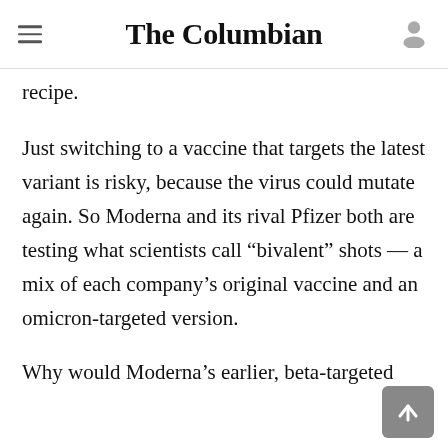The Columbian
the mutating virus. They've been deliberating how to decide when and how to change the vaccine recipe.
Just switching to a vaccine that targets the latest variant is risky, because the virus could mutate again. So Moderna and its rival Pfizer both are testing what scientists call “bivalent” shots — a mix of each company’s original vaccine and an omicron-targeted version.
Why would Moderna’s earlier, beta-targeted